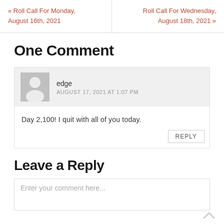« Roll Call For Monday, August 16th, 2021
Roll Call For Wednesday, August 18th, 2021 »
One Comment
edge
AUGUST 17, 2021 AT 1:07 PM
Day 2,100! I quit with all of you today.
REPLY
Leave a Reply
Enter your comment here...